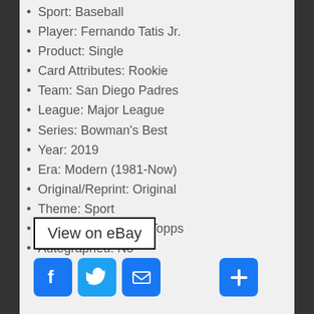Sport: Baseball
Player: Fernando Tatis Jr.
Product: Single
Card Attributes: Rookie
Team: San Diego Padres
League: Major League
Series: Bowman's Best
Year: 2019
Era: Modern (1981-Now)
Original/Reprint: Original
Theme: Sport
Card Manufacturer: Topps
Autographed: No
View on eBay